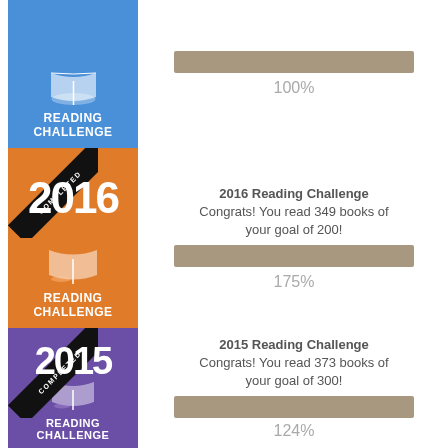[Figure (infographic): Blue Goodreads Reading Challenge badge, partially visible at top. Right side shows 100% progress bar.]
[Figure (infographic): 2016 Orange Goodreads Reading Challenge badge marked COMPLETED. Right side: '2016 Reading Challenge Congrats! You read 349 books of your goal of 200!' with progress bar at 175%.]
[Figure (infographic): 2015 Purple Goodreads Reading Challenge badge marked COMPLETED. Right side: '2015 Reading Challenge Congrats! You read 373 books of your goal of 300!' with progress bar at 124%.]